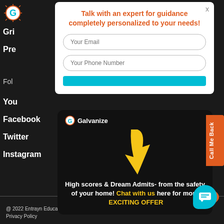[Figure (logo): Galvanize logo (sun/gear icon) in top left]
GR
Pre
Fol
You
Facebook
Twitter
Instagram
Talk with an expert for guidance completely personalized to your needs!
Your Email
Your Phone Number
[Figure (infographic): Galvanize promo card with yellow arrow pointing down, text: High scores & Dream Admits- from the safety of your home! Chat with us here for more EXCITING OFFER]
Call Me Back
@ 2022 Entrayn Education Technologies | Terms of Us Privacy Policy